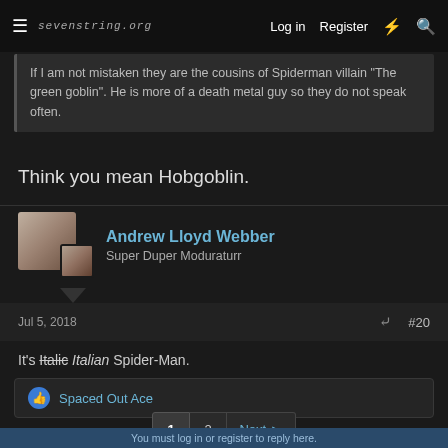sevenstring.org  Log in  Register
If I am not mistaken they are the cousins of Spiderman villain "The green goblin". He is more of a death metal guy so they do not speak often.
Think you mean Hobgoblin.
Andrew Lloyd Webber
Super Duper Moduraturr
Jul 5, 2018  #20
It's Italic Italian Spider-Man.
👍 Spaced Out Ace
1  2  Next ▸
You must log in or register to reply here.